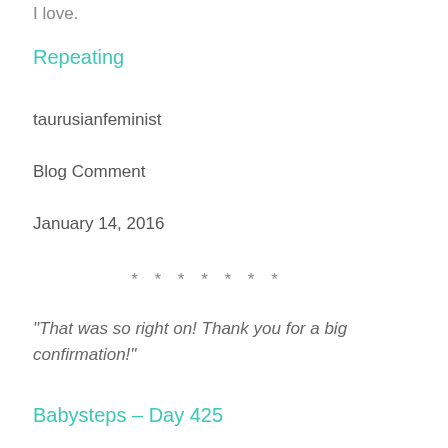I love.
Repeating
taurusianfeminist
Blog Comment
January 14, 2016
* * * * * * *
“That was so right on! Thank you for a big confirmation!”
Babysteps – Day 425